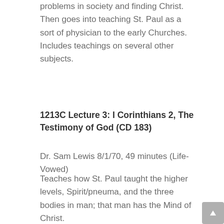problems in society and finding Christ. Then goes into teaching St. Paul as a sort of physician to the early Churches. Includes teachings on several other subjects.
1213C Lecture 3: I Corinthians 2, The Testimony of God (CD 183)
Dr. Sam Lewis 8/1/70, 49 minutes (Life-Vowed)
Teaches how St. Paul taught the higher levels, Spirit/pneuma, and the three bodies in man; that man has the Mind of Christ.